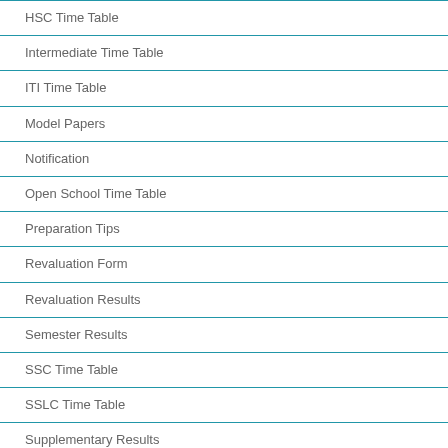HSC Time Table
Intermediate Time Table
ITI Time Table
Model Papers
Notification
Open School Time Table
Preparation Tips
Revaluation Form
Revaluation Results
Semester Results
SSC Time Table
SSLC Time Table
Supplementary Results
Supplementary Time Table